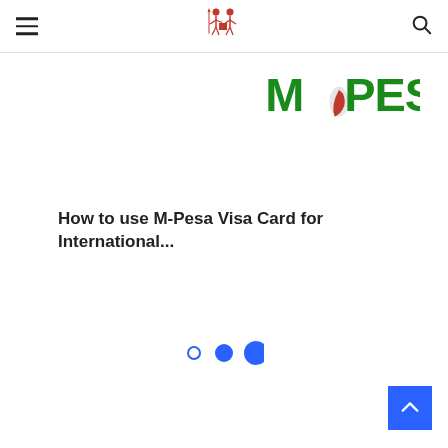[Figure (logo): Red Maasai warrior logo icon in center of navigation bar]
[Figure (logo): M-PESA logo in green and red text with feather/phone graphic]
How to use M-Pesa Visa Card for International...
[Figure (infographic): Three blue carousel pagination dots of increasing size]
[Figure (infographic): Blue scroll-to-top button with upward chevron arrow, bottom right corner]